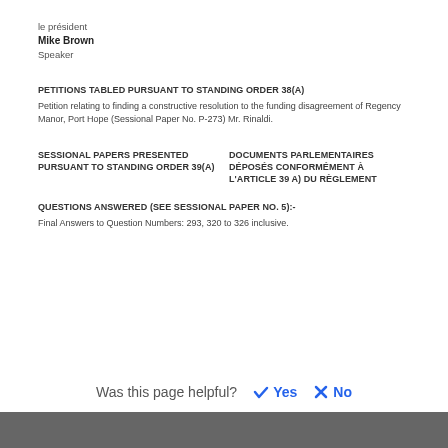le président
Mike Brown
Speaker
PETITIONS TABLED PURSUANT TO STANDING ORDER 38(A)
Petition relating to finding a constructive resolution to the funding disagreement of Regency Manor, Port Hope (Sessional Paper No. P-273) Mr. Rinaldi.
SESSIONAL PAPERS PRESENTED PURSUANT TO STANDING ORDER 39(a)
DOCUMENTS PARLEMENTAIRES DÉPOSÉS CONFORMÉMENT À L'ARTICLE 39 a) DU RÈGLEMENT
QUESTIONS ANSWERED (SEE SESSIONAL PAPER NO. 5):-
Final Answers to Question Numbers: 293, 320 to 326 inclusive.
Was this page helpful?  Yes  No